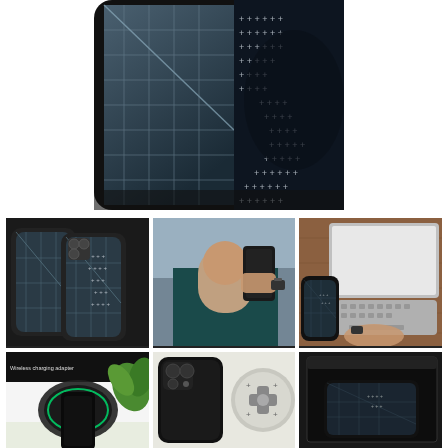[Figure (photo): Close-up of a phone case with a dark architectural/building pattern and cross-hatch silver detail, viewed from the back at an angle.]
[Figure (photo): Two phone cases shown side by side with dark architectural pattern and silver sparkle cross design.]
[Figure (photo): Person holding a phone with a dark case, taking a selfie outdoors.]
[Figure (photo): Phone case placed on a wooden desk next to a laptop, overhead view.]
[Figure (photo): Wireless charging pad with a green plant, labeled 'Wireless charging adapter'.]
[Figure (photo): Phone case and a cross/plus-shaped wireless charging puck accessory.]
[Figure (photo): Product box packaging with Zara branding and a phone case inside, mostly dark/black.]